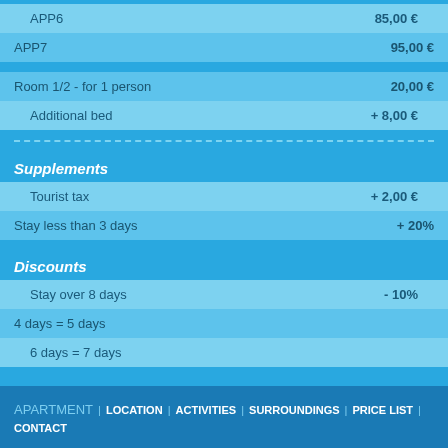| Item | Price |
| --- | --- |
| APP6 | 85,00 € |
| APP7 | 95,00 € |
| Item | Price |
| --- | --- |
| Room 1/2 - for 1 person | 20,00 € |
| Additional bed | + 8,00 € |
Supplements
| Item | Price |
| --- | --- |
| Tourist tax | + 2,00 € |
| Stay less than 3 days | + 20% |
Discounts
| Item | Price |
| --- | --- |
| Stay over 8 days | - 10% |
| 4 days = 5 days |  |
| 6 days = 7 days |  |
APARTMENT | LOCATION | ACTIVITIES | SURROUNDINGS | PRICE LIST | CONTACT